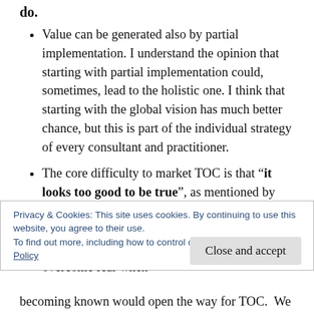do.
Value can be generated also by partial implementation. I understand the opinion that starting with partial implementation could, sometimes, lead to the holistic one. I think that starting with the global vision has much better chance, but this is part of the individual strategy of every consultant and practitioner.
The core difficulty to market TOC is that “it looks too good to be true”, as mentioned by Kevin Fox, and this causes a considerable fear. We need to learn how to overcome personal fears of people we have to convince. People overcome fear when
Privacy & Cookies: This site uses cookies. By continuing to use this website, you agree to their use.
To find out more, including how to control cookies, see here: Cookie Policy
Close and accept
becoming known would open the way for TOC. We